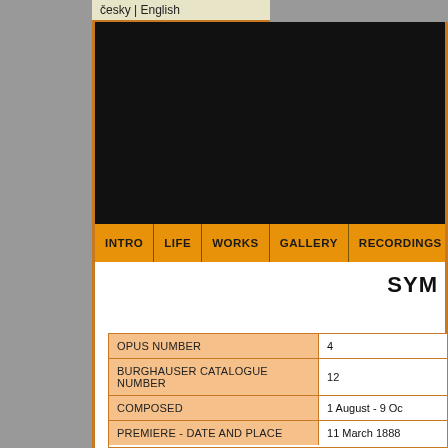česky | English
[Figure (photo): Dark/black banner area at the top of the page, likely a decorative header image]
INTRO | LIFE | WORKS | GALLERY | RECORDINGS | BIBLIOGRAPHY
SYM
|  |  |
| --- | --- |
| OPUS NUMBER | 4 |
| BURGHAUSER CATALOGUE NUMBER | 12 |
| COMPOSED | 1 August - 9 Oc |
| PREMIERE - DATE AND PLACE | 11 March 1888 |